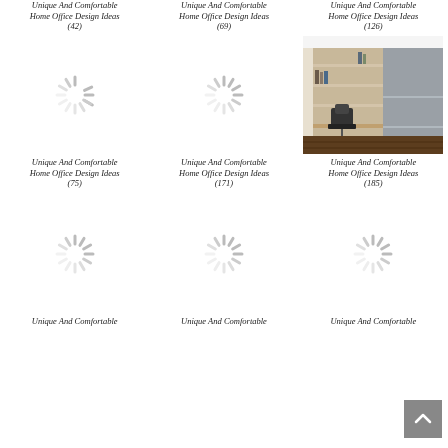Unique And Comfortable Home Office Design Ideas (42)
Unique And Comfortable Home Office Design Ideas (69)
Unique And Comfortable Home Office Design Ideas (126)
[Figure (photo): Loading spinner placeholder]
[Figure (photo): Loading spinner placeholder]
[Figure (photo): Home office with built-in wood shelving, desk, and office chair on dark wood floor]
Unique And Comfortable Home Office Design Ideas (75)
Unique And Comfortable Home Office Design Ideas (171)
Unique And Comfortable Home Office Design Ideas (185)
[Figure (photo): Loading spinner placeholder]
[Figure (photo): Loading spinner placeholder]
[Figure (photo): Loading spinner placeholder]
Unique And Comfortable
Unique And Comfortable
Unique And Comfortable